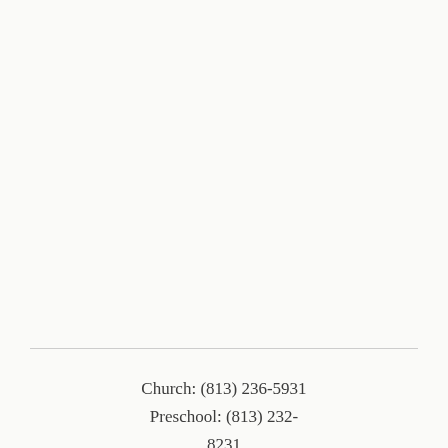Church: (813) 236-5931
Preschool: (813) 232-8231